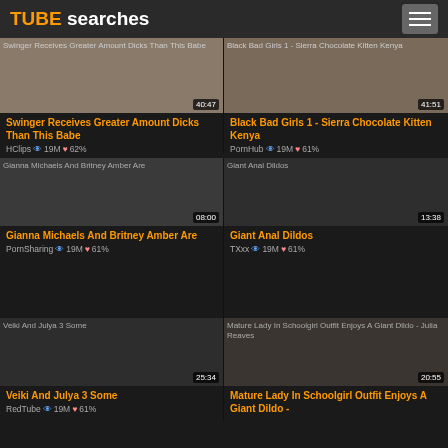TUBE searches
[Figure (screenshot): Video thumbnail for Swinger Receives Greater Amount Dicks Than This Babe, duration 40:47]
Swinger Receives Greater Amount Dicks Than This Babe
HClips 19M 62%
[Figure (screenshot): Video thumbnail for Black Bad Girls 1 - Sierra Chocolate Kitten Kenya, duration 41:51]
Black Bad Girls 1 - Sierra Chocolate Kitten Kenya
PornHub 19M 61%
[Figure (screenshot): Video thumbnail for Gianna Michaels And Britney Amber Are, duration 08:00]
Gianna Michaels And Britney Amber Are
PornSharing 19M 61%
[Figure (screenshot): Video thumbnail for Giant Anal Dildos, duration 13:38]
Giant Anal Dildos
TXxx 19M 61%
[Figure (screenshot): Video thumbnail for Veiki And Julya 3 Some, duration 25:34]
Veiki And Julya 3 Some
RedTube 19M 61%
[Figure (screenshot): Video thumbnail for Mature Lady In Schoolgirl Outfit Enjoys A Giant Dildo - Julia Reaves, duration 20:55]
Mature Lady In Schoolgirl Outfit Enjoys A Giant Dildo -